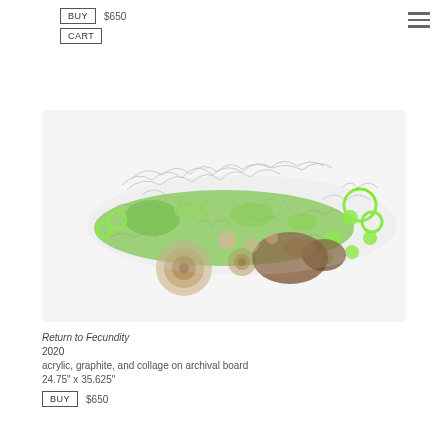BUY  $650
CART
[Figure (illustration): Artwork titled 'Return to Fecundity' — an abstract mixed-media piece showing organic forms including green shapes, brown circular forms resembling wood rings, and dense graphite line-work suggesting plant or micro-organism structures on a light background.]
Return to Fecundity
2020
acrylic, graphite, and collage on archival board
24.75" x 35.625"
BUY  $650